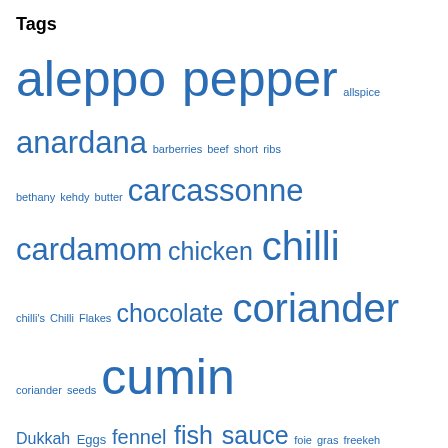Tags
aleppo pepper allspice anardana barberries beef short ribs bethany kehdy butter carcassonne cardamom chicken chilli chilli's Chilli Flakes chocolate coriander coriander seeds cumin Dukkah Eggs fennel fish sauce foie gras freekeh french house party galangal Garlic gascony gramont kecap manis kerisik Kofta kofte Lemon lemongrass lime lime juice lobster mahleb mango maria elia mexican muntok nam pla orange palm sugar parsley Partridge peanuts pepper peppers pistachio pistachio nuts pistachios pomegranate molasses poppy seeds pukka paki richard bertinet rosewater saffron Sardines star anise